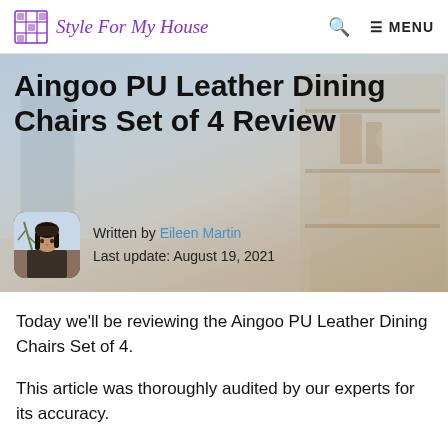Style For My House
[Figure (photo): Hero image showing a living room or dining room interior with shelving and furniture in muted tones, serving as background for the article title and author info]
Aingoo PU Leather Dining Chairs Set of 4 Review
Written by Eileen Martin
Last update: August 19, 2021
Today we'll be reviewing the Aingoo PU Leather Dining Chairs Set of 4.
This article was thoroughly audited by our experts for its accuracy.